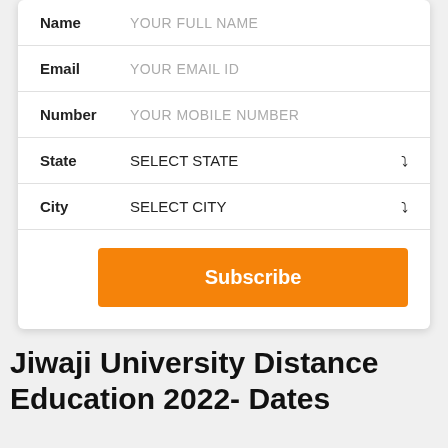| Field | Placeholder/Value |
| --- | --- |
| Name | YOUR FULL NAME |
| Email | YOUR EMAIL ID |
| Number | YOUR MOBILE NUMBER |
| State | SELECT STATE |
| City | SELECT CITY |
Subscribe
Jiwaji University Distance Education 2022- Dates